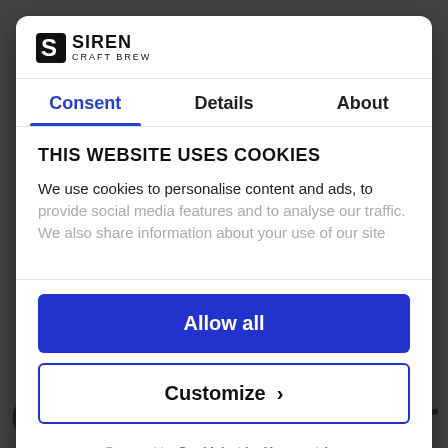[Figure (logo): Siren Craft Brew logo — stylized S with SIREN text and CRAFT BREW subtext]
Consent | Details | About
THIS WEBSITE USES COOKIES
We use cookies to personalise content and ads, to provide social media features and to analyse our traffic. We also share information about your use of our site
Allow all
Customize ›
Powered by Cookiebot by Usercentrics